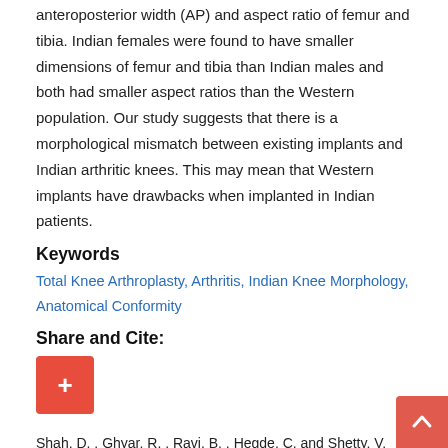anteroposterior width (AP) and aspect ratio of femur and tibia. Indian females were found to have smaller dimensions of femur and tibia than Indian males and both had smaller aspect ratios than the Western population. Our study suggests that there is a morphological mismatch between existing implants and Indian arthritic knees. This may mean that Western implants have drawbacks when implanted in Indian patients.
Keywords
Total Knee Arthroplasty, Arthritis, Indian Knee Morphology, Anatomical Conformity
Share and Cite:
[Figure (other): Red plus button for share and cite action]
Shah, D. , Ghyar, R. , Ravi, B. , Hegde, C. and Shetty, V. (2014) Morphological Measurements of Knee Joints in Indian Population: Comparison to Current Knee Prostheses. Open Journal of